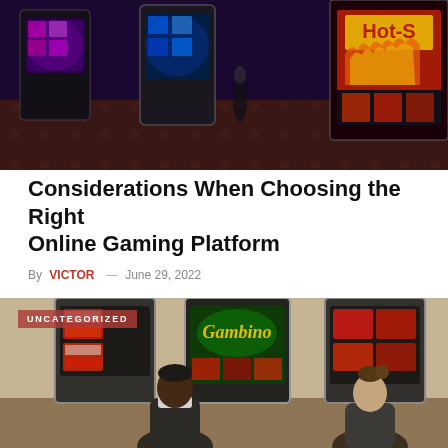[Figure (photo): Interior of a casino with colorful slot machines lit up in red, purple, and blue lights. Hot Shot branding visible on one machine.]
Considerations When Choosing the Right Online Gaming Platform
By VICTOR — June 29, 2022
There has been an increase in internet activities due to technological advancement. These activities…
[Figure (photo): Two people sitting at casino slot machines from behind, with red and white gaming screens visible. An UNCATEGORIZED badge overlays the top-left corner of the image.]